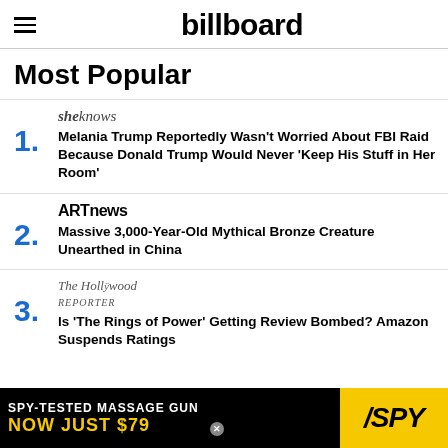billboard
Most Popular
sheknows — Melania Trump Reportedly Wasn't Worried About FBI Raid Because Donald Trump Would Never 'Keep His Stuff in Her Room'
ARTnews — Massive 3,000-Year-Old Mythical Bronze Creature Unearthed in China
The Hollywood Reporter — Is 'The Rings of Power' Getting Review Bombed? Amazon Suspends Ratings
[Figure (screenshot): Advertisement banner: SPY-TESTED MASSAGE GUN NOW JUST $79 with SPY logo on yellow background]